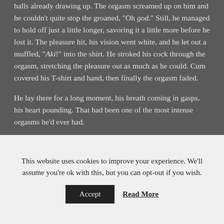balls already drawing up. The orgasm screamed up on him and he couldn't quite stop the groaned, "Oh god." Still, he managed to hold off just a little longer, savoring it a little more before he lost it. The pleasure hit, his vision went white, and he let out a muffled, "Aki!" into the shirt. He stroked his cock through the orgasm, stretching the pleasure out as much as he could. Cum covered his T-shirt and hand, then finally the orgasm faded.
He lay there for a long moment, his breath coming in gasps, his heart pounding. That had been one of the most intense orgasms he'd ever had.
And yet… all he could think about was how… empty it'd been. He wiped his hand on his own T-shirt, pulled it off
This website uses cookies to improve your experience. We'll assume you're ok with this, but you can opt-out if you wish.